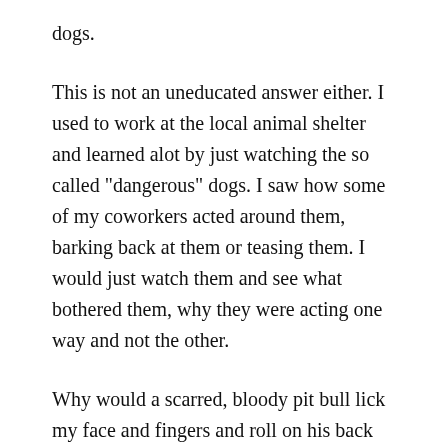dogs.
This is not an uneducated answer either. I used to work at the local animal shelter and learned alot by just watching the so called "dangerous" dogs. I saw how some of my coworkers acted around them, barking back at them or teasing them. I would just watch them and see what bothered them, why they were acting one way and not the other.
Why would a scarred, bloody pit bull lick my face and fingers and roll on his back when i went into the cage to feed him and pat his head?